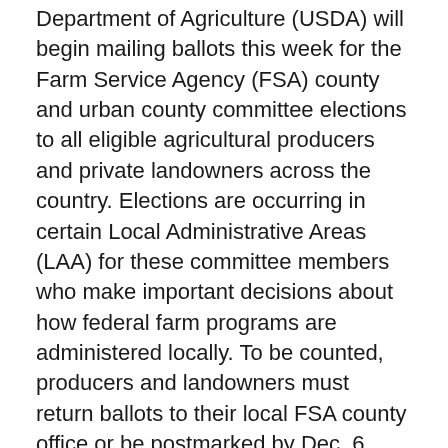Department of Agriculture (USDA) will begin mailing ballots this week for the Farm Service Agency (FSA) county and urban county committee elections to all eligible agricultural producers and private landowners across the country. Elections are occurring in certain Local Administrative Areas (LAA) for these committee members who make important decisions about how federal farm programs are administered locally. To be counted, producers and landowners must return ballots to their local FSA county office or be postmarked by Dec. 6, 2021.
“Now is your opportunity to elect fellow farmers and ranchers in your community to serve on the local county committee,” said FSA Administrator Zach Ducheneaux. “These committees are a critical piece to the work we do by providing knowledge and judgment as decisions are made about the services we provide. Your voice and vote matters.”